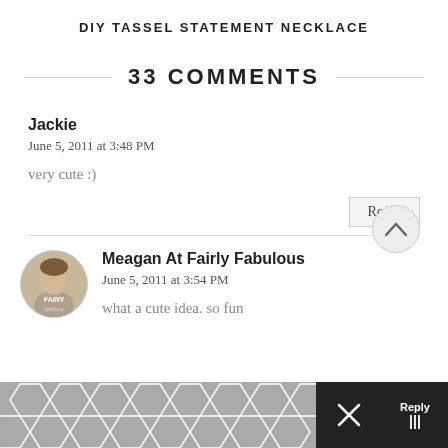DIY TASSEL STATEMENT NECKLACE
33 COMMENTS
Jackie
June 5, 2011 at 3:48 PM
very cute :)
Reply
Meagan At Fairly Fabulous
June 5, 2011 at 3:54 PM
what a cute idea. so fun